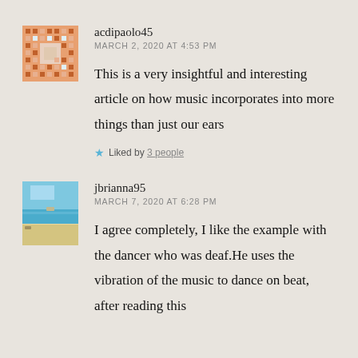acdipaolo45
MARCH 2, 2020 AT 4:53 PM
This is a very insightful and interesting article on how music incorporates into more things than just our ears
Liked by 3 people
jbrianna95
MARCH 7, 2020 AT 6:28 PM
I agree completely, I like the example with the dancer who was deaf.He uses the vibration of the music to dance on beat, after reading this